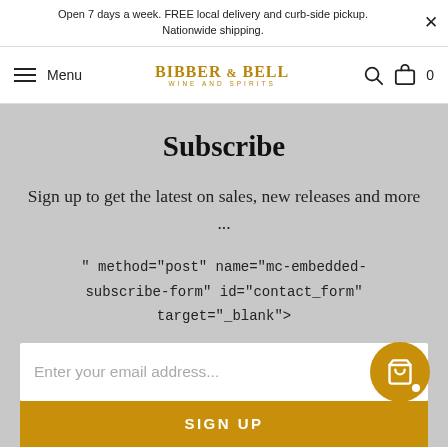Open 7 days a week. FREE local delivery and curb-side pickup. Nationwide shipping.
[Figure (logo): Bibber & Bell Wine and Spirits logo with hamburger menu and nav icons]
Subscribe
Sign up to get the latest on sales, new releases and more ...
" method="post" name="mc-embedded-subscribe-form" id="contact_form" target="_blank">
Enter your email address...
SIGN UP